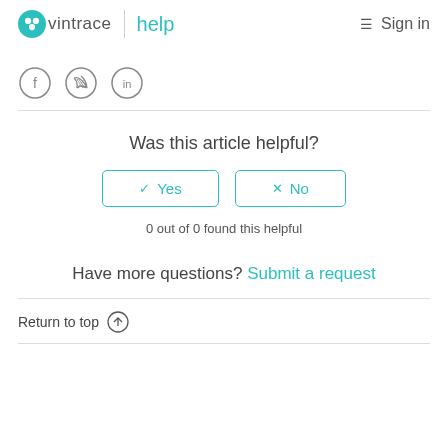vintrace help  Sign in
[Figure (illustration): Social media icons: Facebook, Twitter, LinkedIn in circles]
Was this article helpful?
Yes   No
0 out of 0 found this helpful
Have more questions? Submit a request
Return to top ↑